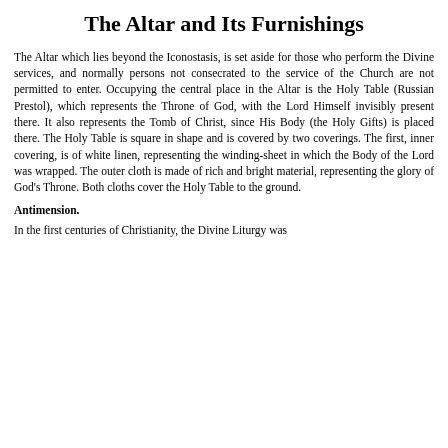The Altar and Its Furnishings
The Altar which lies beyond the Iconostasis, is set aside for those who perform the Divine services, and normally persons not consecrated to the service of the Church are not permitted to enter. Occupying the central place in the Altar is the Holy Table (Russian Prestol), which represents the Throne of God, with the Lord Himself invisibly present there. It also represents the Tomb of Christ, since His Body (the Holy Gifts) is placed there. The Holy Table is square in shape and is covered by two coverings. The first, inner covering, is of white linen, representing the winding-sheet in which the Body of the Lord was wrapped. The outer cloth is made of rich and bright material, representing the glory of God's Throne. Both cloths cover the Holy Table to the ground.
Antimension.
In the first centuries of Christianity, the Divine Liturgy was